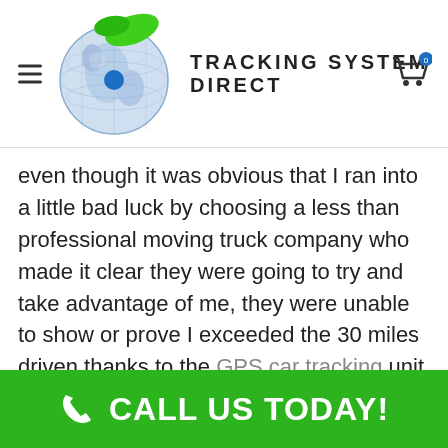Tracking System Direct
even though it was obvious that I ran into a little bad luck by choosing a less than professional moving truck company who made it clear they were going to try and take advantage of me, they were unable to show or prove I exceeded the 30 miles driven thanks to the GPS car tracking unit that I used to record my moving day experience.
CALL US TODAY!